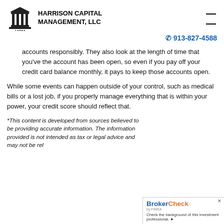HARRISON CAPITAL MANAGEMENT, LLC
913-827-4588
accounts responsibly. They also look at the length of time that you've the account has been open, so even if you pay off your credit card balance monthly, it pays to keep those accounts open.
While some events can happen outside of your control, such as medical bills or a lost job, if you properly manage everything that is within your power, your credit score should reflect that.
*This content is developed from sources believed to be providing accurate information. The information provided is not intended as tax or legal advice and may not be relied on for purposes of avoiding any Federal tax penalties...